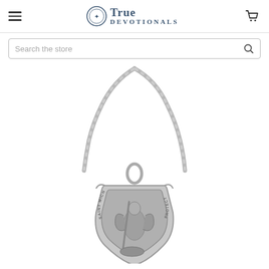True Devotionals — navigation header with hamburger menu and cart icon
Search the store
[Figure (photo): Saint Michael the Archangel sterling silver shield-shaped pendant on a silver chain. The medal shows St. Michael with wings and sword, the text reads 'SAINT MICHAEL PROTECT' around the border.]